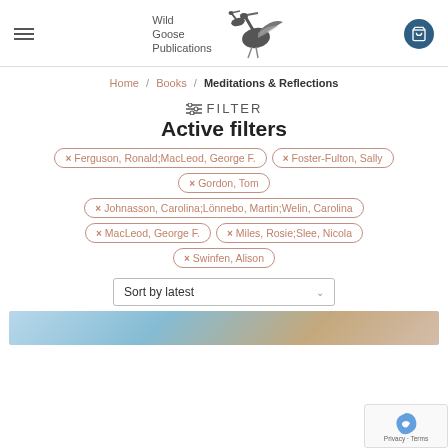Wild Goose Publications
Home / Books / Meditations & Reflections
FILTER
Active filters
× Ferguson, Ronald;MacLeod, George F.
× Foster-Fulton, Sally
× Gordon, Tom
× Johnasson, Carolina;Lönnebo, Martin;Welin, Carolina
× MacLeod, George F.
× Miles, Rosie;Slee, Nicola
× Swinfen, Alison
Sort by latest